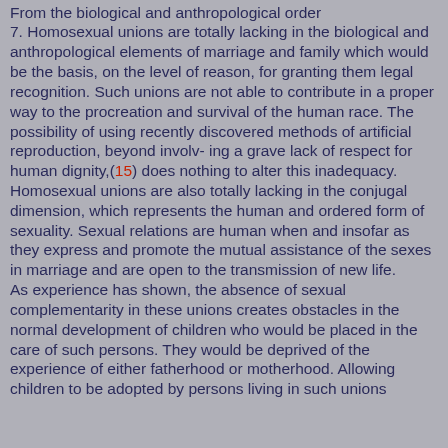From the biological and anthropological order
7. Homosexual unions are totally lacking in the biological and anthropological elements of marriage and family which would be the basis, on the level of reason, for granting them legal recognition. Such unions are not able to contribute in a proper way to the procreation and survival of the human race. The possibility of using recently discovered methods of artificial reproduction, beyond involv- ing a grave lack of respect for human dignity,(15) does nothing to alter this inadequacy.
Homosexual unions are also totally lacking in the conjugal dimension, which represents the human and ordered form of sexuality. Sexual relations are human when and insofar as they express and promote the mutual assistance of the sexes in marriage and are open to the transmission of new life.
As experience has shown, the absence of sexual complementarity in these unions creates obstacles in the normal development of children who would be placed in the care of such persons. They would be deprived of the experience of either fatherhood or motherhood. Allowing children to be adopted by persons living in such unions